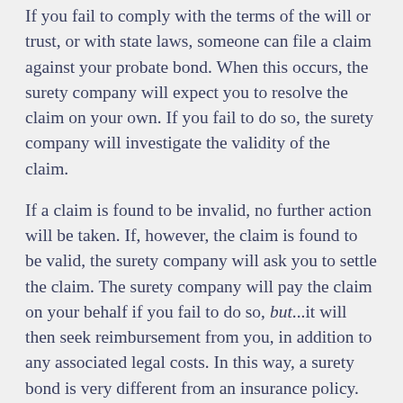If you fail to comply with the terms of the will or trust, or with state laws, someone can file a claim against your probate bond. When this occurs, the surety company will expect you to resolve the claim on your own. If you fail to do so, the surety company will investigate the validity of the claim.
If a claim is found to be invalid, no further action will be taken. If, however, the claim is found to be valid, the surety company will ask you to settle the claim. The surety company will pay the claim on your behalf if you fail to do so, but...it will then seek reimbursement from you, in addition to any associated legal costs. In this way, a surety bond is very different from an insurance policy.
Contact Lissner & Lissner LLP Today